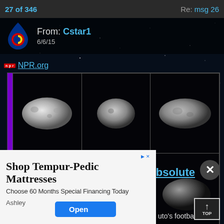27 of 346    Re: msg 26
From: Cstar1
6/6/15
NPR.org
[Figure (photo): Grid of 6 images showing Pluto's moons (likely Nix and Hydra) from New Horizons spacecraft, arranged in 2 rows of 3, showing elongated rocky bodies against black space background]
Shop Tempur-Pedic Mattresses
Choose 60 Months Special Financing Today
Ashley
bsolute
uto's footba